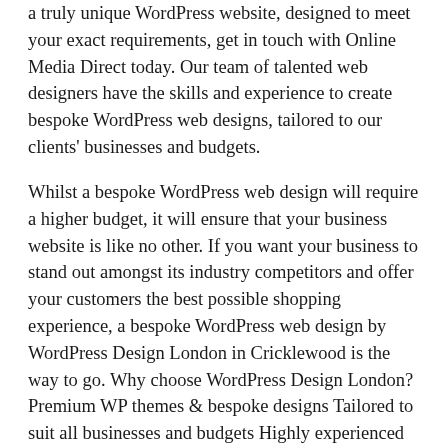a truly unique WordPress website, designed to meet your exact requirements, get in touch with Online Media Direct today. Our team of talented web designers have the skills and experience to create bespoke WordPress web designs, tailored to our clients' businesses and budgets.
Whilst a bespoke WordPress web design will require a higher budget, it will ensure that your business website is like no other. If you want your business to stand out amongst its industry competitors and offer your customers the best possible shopping experience, a bespoke WordPress web design by WordPress Design London in Cricklewood is the way to go. Why choose WordPress Design London? Premium WP themes & bespoke designs Tailored to suit all businesses and budgets Highly experienced and skilful WordPress web designers WordPress plugin, widget and theme integration Mobile-friendly and responsive designs Contact us Make your